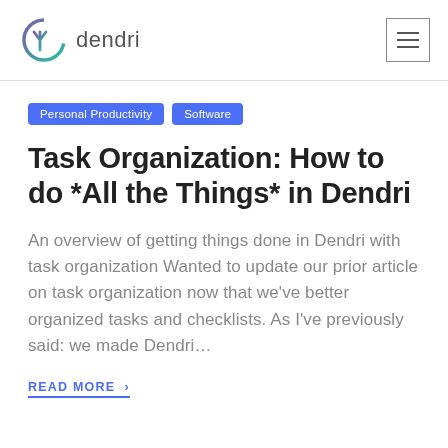dendri
Personal Productivity  Software
Task Organization: How to do *All the Things* in Dendri
An overview of getting things done in Dendri with task organization Wanted to update our prior article on task organization now that we've better organized tasks and checklists. As I've previously said: we made Dendri…
READ MORE >